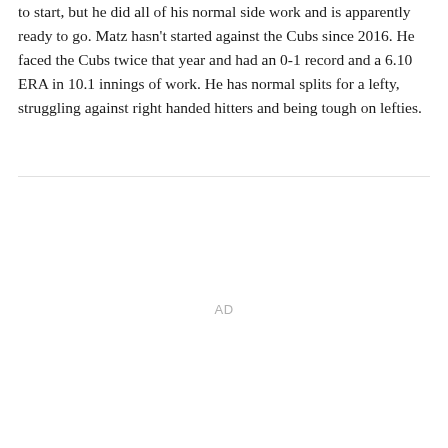to start, but he did all of his normal side work and is apparently ready to go. Matz hasn't started against the Cubs since 2016. He faced the Cubs twice that year and had an 0-1 record and a 6.10 ERA in 10.1 innings of work. He has normal splits for a lefty, struggling against right handed hitters and being tough on lefties.
AD